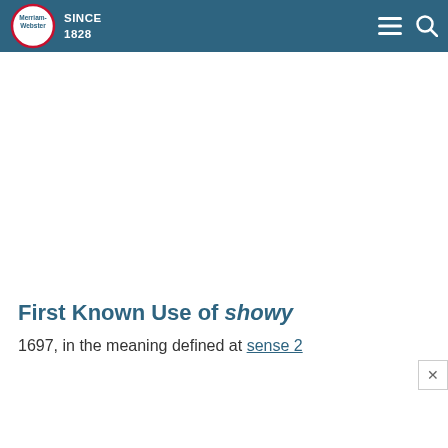Merriam-Webster SINCE 1828
First Known Use of showy
1697, in the meaning defined at sense 2